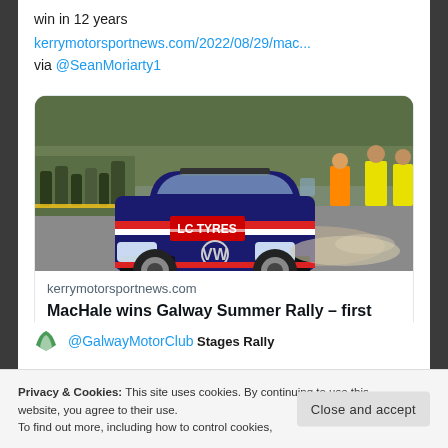win in 12 years
kerrymotorsportnews.com/2022/08/29/mac...
via @SeanMoriarty1
[Figure (photo): A rally car (Volkswagen Polo, blue with LC Tyres livery) racing on a road stage, with spectators and marshals in hi-vis vests visible in the background.]
kerrymotorsportnews.com
MacHale wins Galway Summer Rally – first win in 12 years
2
Privacy & Cookies: This site uses cookies. By continuing to use this website, you agree to their use. To find out more, including how to control cookies,
Close and accept